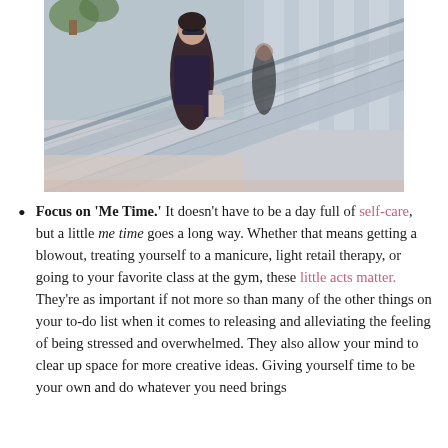[Figure (photo): A person with sunglasses on an escalator in a shopping mall, carrying shopping bags. The escalator has glass and metal railings. Plants are visible in the background.]
Focus on 'Me Time.' It doesn't have to be a day full of self-care, but a little me time goes a long way. Whether that means getting a blowout, treating yourself to a manicure, light retail therapy, or going to your favorite class at the gym, these little acts matter. They're as important if not more so than many of the other things on your to-do list when it comes to releasing and alleviating the feeling of being stressed and overwhelmed. They also allow your mind to clear up space for more creative ideas. Giving yourself time to be your own and do whatever you need brings